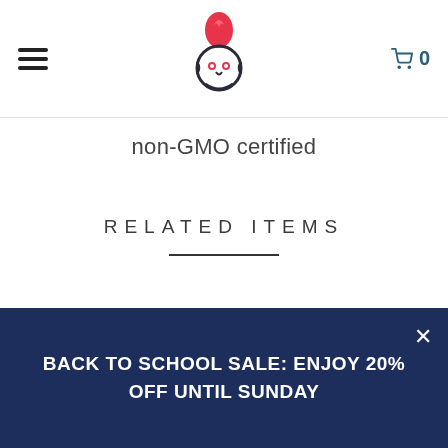[Figure (logo): Red flame and owl/face logo icon centered in navbar]
non-GMO certified
RELATED ITEMS
[Figure (photo): Product thumbnail with grey background showing dark blue product packets]
[Figure (photo): Product thumbnail with blue background showing white canister product]
BACK TO SCHOOL SALE: ENJOY 20% OFF UNTIL SUNDAY